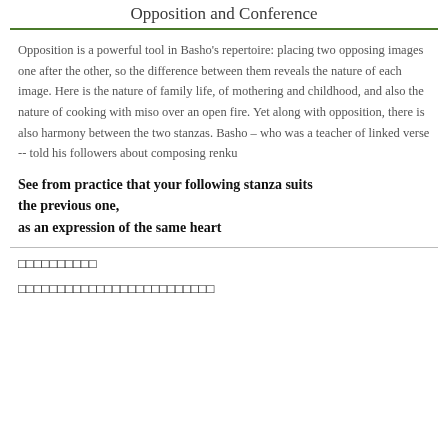Opposition and Conference
Opposition is a powerful tool in Basho’s repertoire: placing two opposing images one after the other, so the difference between them reveals the nature of each image. Here is the nature of family life, of mothering and childhood, and also the nature of cooking with miso over an open fire. Yet along with opposition, there is also harmony between the two stanzas. Basho – who was a teacher of linked verse -- told his followers about composing renku
See from practice that your following stanza suits the previous one,
as an expression of the same heart
「「「「「「「「「「
「「「「「「「「「「「「「「「「「「「「「「「「「